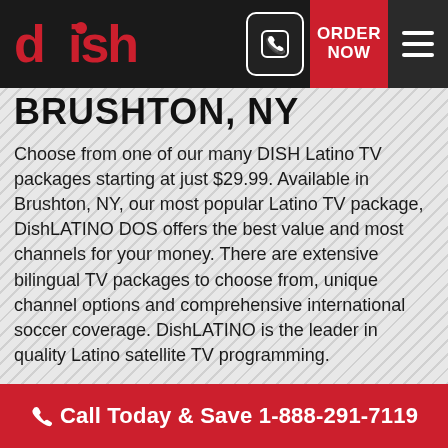DISH — ORDER NOW — Phone button — Menu button
BRUSHTON, NY
Choose from one of our many DISH Latino TV packages starting at just $29.99. Available in Brushton, NY, our most popular Latino TV package, DishLATINO DOS offers the best value and most channels for your money. There are extensive bilingual TV packages to choose from, unique channel options and comprehensive international soccer coverage. DishLATINO is the leader in quality Latino satellite TV programming.
Call Today & Save 1-888-291-7119